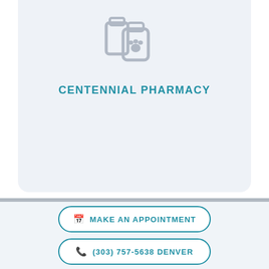[Figure (logo): Gray pharmacy/pet medication icon showing two prescription bottles, one with a paw print on the label]
CENTENNIAL PHARMACY
MAKE AN APPOINTMENT
(303) 757-5638 DENVER